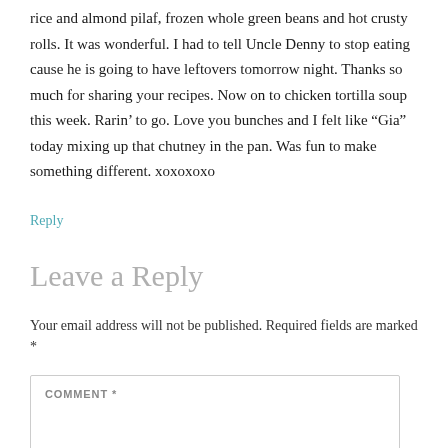rice and almond pilaf, frozen whole green beans and hot crusty rolls. It was wonderful. I had to tell Uncle Denny to stop eating cause he is going to have leftovers tomorrow night. Thanks so much for sharing your recipes. Now on to chicken tortilla soup this week. Rarin’ to go. Love you bunches and I felt like “Gia” today mixing up that chutney in the pan. Was fun to make something different. xoxoxoxo
Reply
Leave a Reply
Your email address will not be published. Required fields are marked *
COMMENT *